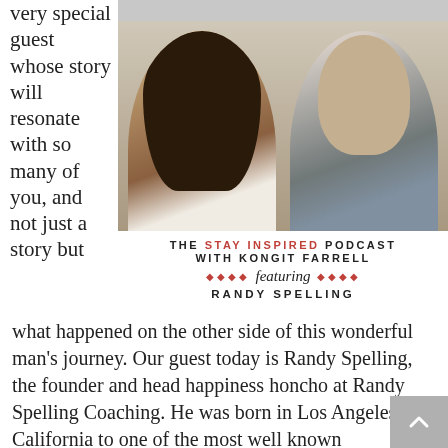very special guest whose story will resonate with so many of you, and not just a story but
[Figure (photo): Podcast cover image for The Stay Inspired Podcast with Kongit Farrell featuring Randy Spelling. Shows headshots of a woman with long dark hair (Kongit Farrell) and a man with short blond hair (Randy Spelling). Text overlay reads: THE STAY INSPIRED PODCAST WITH KONGIT FARRELL featuring RANDY SPELLING]
what happened on the other side of this wonderful man's journey. Our guest today is Randy Spelling, the founder and head happiness honcho at Randy Spelling Coaching. He was born in Los Angeles, California to one of the most well known Hollywood families in the entertainment business. Even though he had money, celebrity, and success, he also suffered